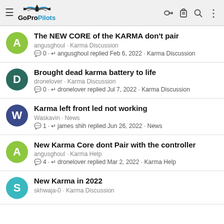GoPro Pilots
The NEW CORE of the KARMA don't pair | angusghoul · Karma Discussion | 0 · angusghoul replied Feb 6, 2022 · Karma Discussion
Brought dead karma battery to life | dronelover · Karma Discussion | 0 · dronelover replied Jul 7, 2022 · Karma Discussion
Karma left front led not working | Waskavin · News | 1 · james shih replied Jun 26, 2022 · News
New Karma Core dont Pair with the controller | angusghoul · Karma Help | 4 · dronelover replied Mar 2, 2022 · Karma Help
New Karma in 2022 | skhwaja-0 · Karma Discussion